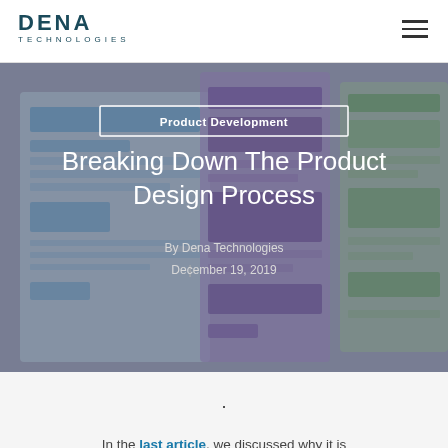DENA TECHNOLOGIES
[Figure (photo): Hero image showing colorful wireframe/UI design sketches in blue, purple, and green watercolor style, with overlaid text for Product Development category, article title, author, and date]
Product Development
Breaking Down The Product Design Process
By Dena Technologies
December 19, 2019
In the last article, we discussed why it is